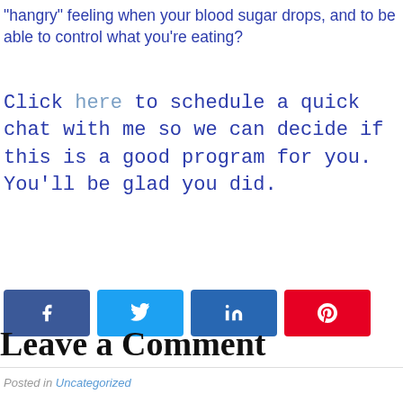"hangry" feeling when your blood sugar drops, and to be able to control what you're eating?
Click here to schedule a quick chat with me so we can decide if this is a good program for you. You'll be glad you did.
[Figure (infographic): Four social share buttons: Facebook (blue), Twitter (light blue), LinkedIn (dark blue), Pinterest (red), each with respective icon.]
Posted in Uncategorized
Leave a Comment